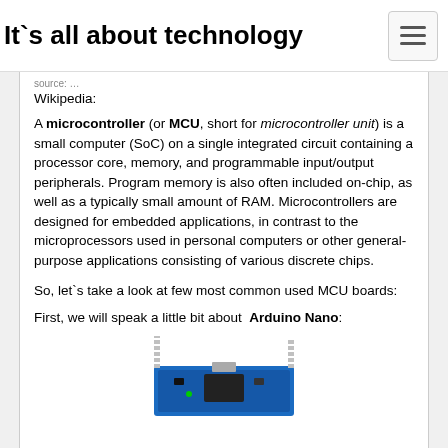It`s all about technology
Wikipedia:
A microcontroller (or MCU, short for microcontroller unit) is a small computer (SoC) on a single integrated circuit containing a processor core, memory, and programmable input/output peripherals. Program memory is also often included on-chip, as well as a typically small amount of RAM. Microcontrollers are designed for embedded applications, in contrast to the microprocessors used in personal computers or other general-purpose applications consisting of various discrete chips.
So, let`s take a look at few most common used MCU boards:
First, we will speak a little bit about  Arduino Nano:
[Figure (photo): Partial image of an Arduino Nano board, showing the blue PCB with pin headers, visible at the bottom of the page.]